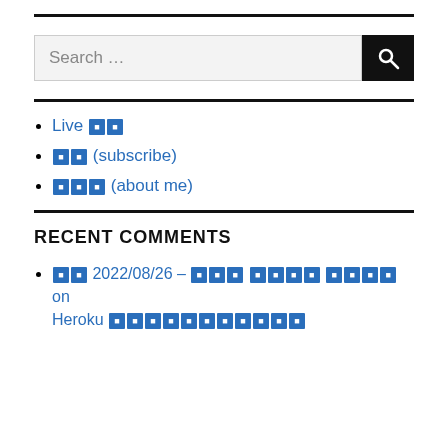[Figure (other): Search bar with text input field showing placeholder 'Search ...' and a dark search button with magnifying glass icon]
Live 🏠
■■ (subscribe)
■■■ (about me)
RECENT COMMENTS
■■ 2022/08/26 – ■■■ ■■■■ ■■■■ on Heroku ■■■■■■■■■■■